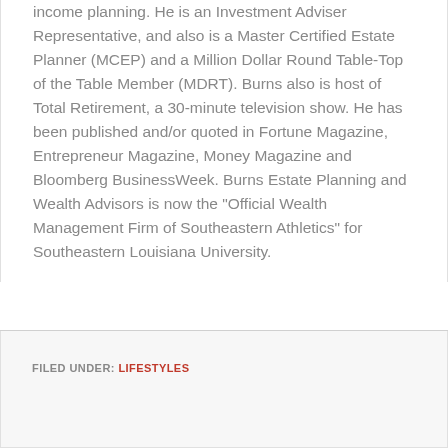income planning. He is an Investment Adviser Representative, and also is a Master Certified Estate Planner (MCEP) and a Million Dollar Round Table-Top of the Table Member (MDRT). Burns also is host of Total Retirement, a 30-minute television show. He has been published and/or quoted in Fortune Magazine, Entrepreneur Magazine, Money Magazine and Bloomberg BusinessWeek. Burns Estate Planning and Wealth Advisors is now the "Official Wealth Management Firm of Southeastern Athletics" for Southeastern Louisiana University.
FILED UNDER: LIFESTYLES